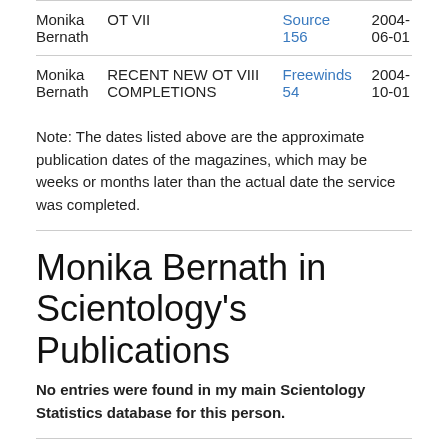| Name | Achievement | Source | Date |
| --- | --- | --- | --- |
| Monika Bernath | OT VII | Source 156 | 2004-06-01 |
| Monika Bernath | RECENT NEW OT VIII COMPLETIONS | Freewinds 54 | 2004-10-01 |
Note: The dates listed above are the approximate publication dates of the magazines, which may be weeks or months later than the actual date the service was completed.
Monika Bernath in Scientology's Publications
No entries were found in my main Scientology Statistics database for this person.
Monika Bernath and the Clear List